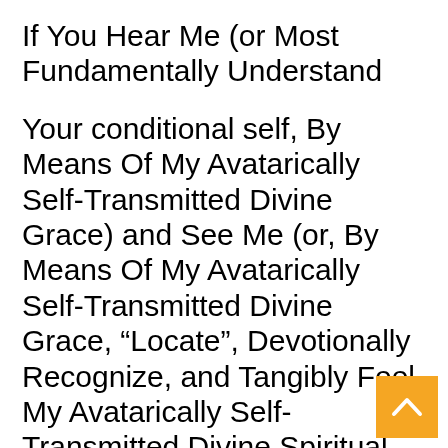If You Hear Me (or Most Fundamentally Understand
Your conditional self, By Means Of My Avatarically Self-Transmitted Divine Grace) and See Me (or, By Means Of My Avatarically Self-Transmitted Divine Grace, “Locate”, Devotionally Recognize, and Tangibly Feel My Avatarically Self-Transmitted Divine Spiritual Presence, From The Heart), Then, Because Of My Self-Existing and Self-Radiant (and, Altogether,